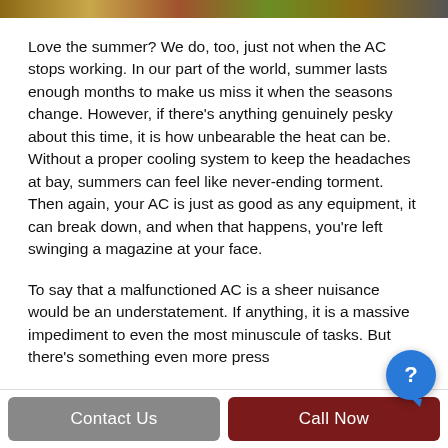[Figure (photo): Partial image bar at top of page showing outdoor/nature scene]
Love the summer? We do, too, just not when the AC stops working. In our part of the world, summer lasts enough months to make us miss it when the seasons change. However, if there's anything genuinely pesky about this time, it is how unbearable the heat can be. Without a proper cooling system to keep the headaches at bay, summers can feel like never-ending torment. Then again, your AC is just as good as any equipment, it can break down, and when that happens, you're left swinging a magazine at your face.
To say that a malfunctioned AC is a sheer nuisance would be an understatement. If anything, it is a massive impediment to even the most minuscule of tasks. But there's something even more press…